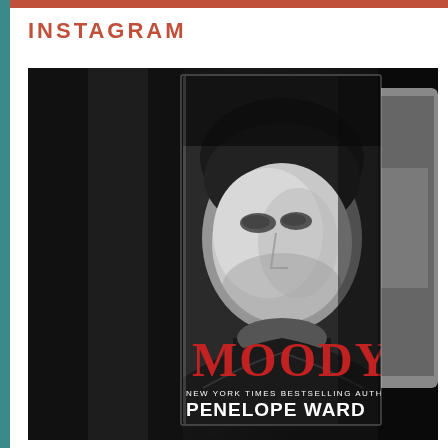INSTAGRAM
[Figure (photo): Book cover photo of 'Moody' by New York Times Bestselling Author Penelope Ward, showing a black and white close-up of a man's face looking upward, with bold red title text 'MOODY'. A tablet device is partially visible to the right. The background is dark and blurred.]